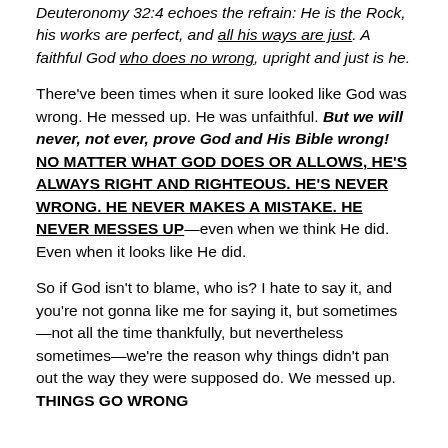Deuteronomy 32:4 echoes the refrain: He is the Rock, his works are perfect, and all his ways are just. A faithful God who does no wrong, upright and just is he.
There've been times when it sure looked like God was wrong. He messed up. He was unfaithful. But we will never, not ever, prove God and His Bible wrong! NO MATTER WHAT GOD DOES OR ALLOWS, HE'S ALWAYS RIGHT AND RIGHTEOUS. HE'S NEVER WRONG. HE NEVER MAKES A MISTAKE. HE NEVER MESSES UP—even when we think He did. Even when it looks like He did.
So if God isn't to blame, who is? I hate to say it, and you're not gonna like me for saying it, but sometimes—not all the time thankfully, but nevertheless sometimes—we're the reason why things didn't pan out the way they were supposed do. We messed up. THINGS GO WRONG